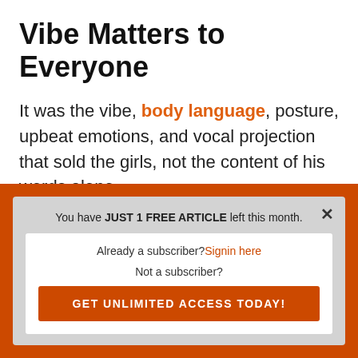Vibe Matters to Everyone
It was the vibe, body language, posture, upbeat emotions, and vocal projection that sold the girls, not the content of his words alone.
You have JUST 1 FREE ARTICLE left this month.
Already a subscriber? Signin here
Not a subscriber?
GET UNLIMITED ACCESS TODAY!